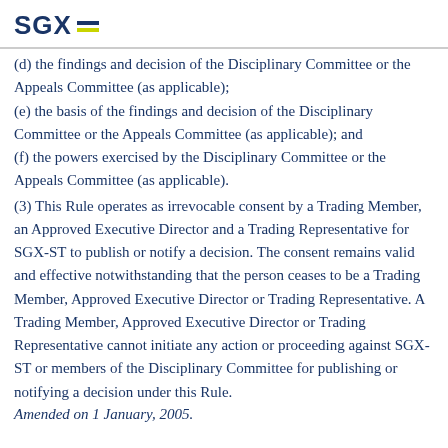SGX
(d) the findings and decision of the Disciplinary Committee or the Appeals Committee (as applicable);
(e) the basis of the findings and decision of the Disciplinary Committee or the Appeals Committee (as applicable); and
(f) the powers exercised by the Disciplinary Committee or the Appeals Committee (as applicable).
(3) This Rule operates as irrevocable consent by a Trading Member, an Approved Executive Director and a Trading Representative for SGX-ST to publish or notify a decision. The consent remains valid and effective notwithstanding that the person ceases to be a Trading Member, Approved Executive Director or Trading Representative. A Trading Member, Approved Executive Director or Trading Representative cannot initiate any action or proceeding against SGX-ST or members of the Disciplinary Committee for publishing or notifying a decision under this Rule.
Amended on 1 January, 2005.